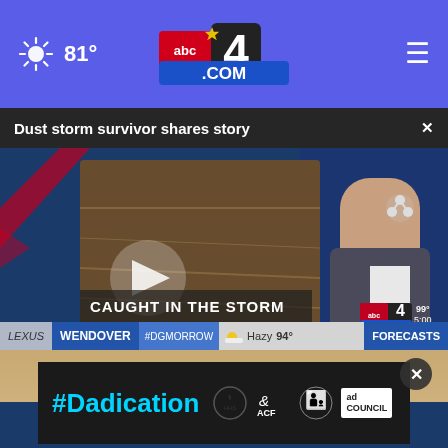81° abc4.com
Dust storm survivor shares story
[Figure (screenshot): News broadcast screenshot showing a male anchor in suit and tie, with an inset video labeled 'CAUGHT IN THE STORM', weather ticker showing WENDOVER, 94° Hazy, and abc4.com logo. 99° 5:00 shown in corner. FORECASTS label on right of ticker.]
[Figure (screenshot): Ad banner with #Dadication in cyan, HHS/ACF and Ad Council logos on dark background. Close button (X) visible. Partial blonde woman's photo above.]